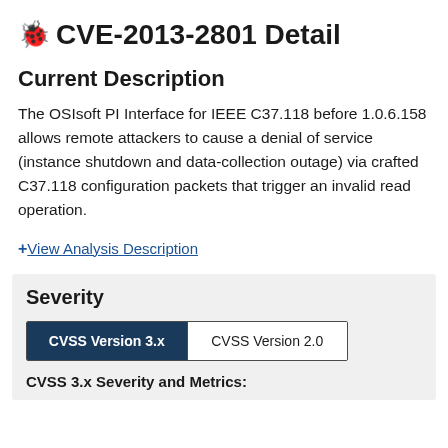CVE-2013-2801 Detail
Current Description
The OSIsoft PI Interface for IEEE C37.118 before 1.0.6.158 allows remote attackers to cause a denial of service (instance shutdown and data-collection outage) via crafted C37.118 configuration packets that trigger an invalid read operation.
+ View Analysis Description
Severity
CVSS Version 3.x | CVSS Version 2.0
CVSS 3.x Severity and Metrics: